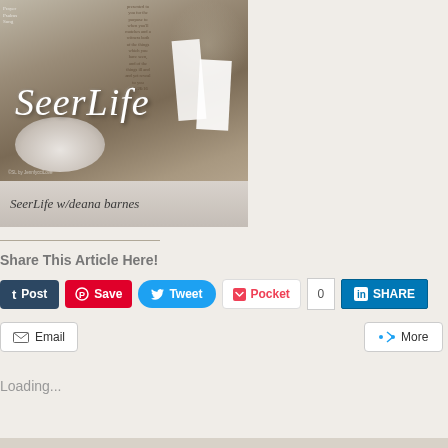[Figure (photo): SeerLife podcast cover image showing a decorative bowl, dried flowers, and white cards on a wooden surface with the SeerLife logo in italic script. Bottom bar reads 'SeerLife w/deana barnes'.]
Share This Article Here!
[Figure (other): Social sharing buttons: Post (Tumblr), Save (Pinterest), Tweet (Twitter), Pocket with count 0, LinkedIn SHARE, Email, More]
Loading...